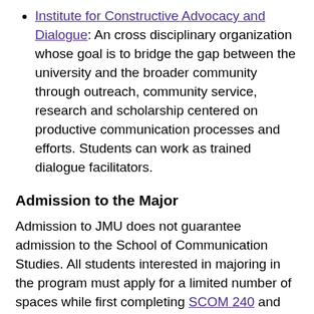Institute for Constructive Advocacy and Dialogue: An cross disciplinary organization whose goal is to bridge the gap between the university and the broader community through outreach, community service, research and scholarship centered on productive communication processes and efforts. Students can work as trained dialogue facilitators.
Admission to the Major
Admission to JMU does not guarantee admission to the School of Communication Studies. All students interested in majoring in the program must apply for a limited number of spaces while first completing SCOM 240 and SCOM 241. In order to register for these classes, students must change their major to “SCOM declared” to register for SCOM 240 and SCOM 241.
The School of Communication Studies reviews applications for admission to the major each semester.